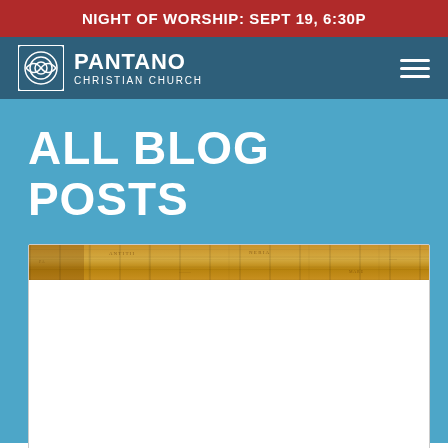NIGHT OF WORSHIP: SEPT 19, 6:30P
[Figure (logo): Pantano Christian Church logo with circular icon and text]
ALL BLOG POSTS
[Figure (photo): Blog post card with an old golden map image at the top and white content area below]